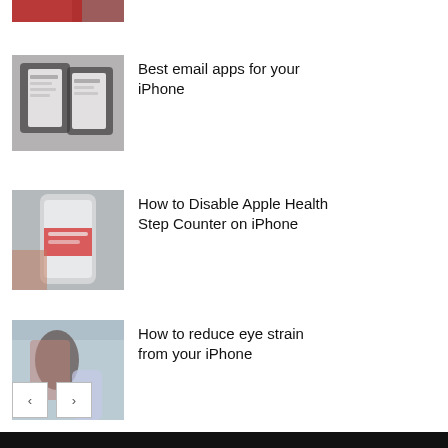[Figure (photo): Partial top thumbnail, red/dark tones, cropped article image]
[Figure (photo): Email apps article thumbnail: iPhone with email apps on a desk]
Best email apps for your iPhone
[Figure (photo): Apple Health article thumbnail: hand holding an iPhone showing Health app]
How to Disable Apple Health Step Counter on iPhone
[Figure (photo): Eye strain article thumbnail: woman looking at iPhone outdoors]
How to reduce eye strain from your iPhone